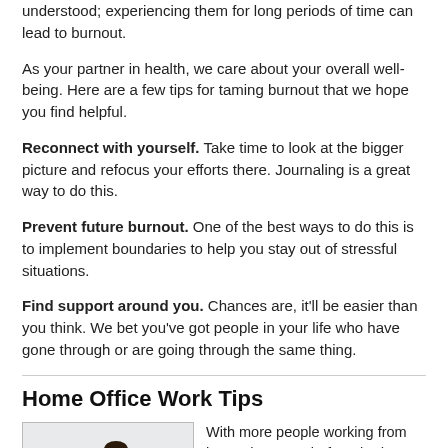understood; experiencing them for long periods of time can lead to burnout.
As your partner in health, we care about your overall well-being. Here are a few tips for taming burnout that we hope you find helpful.
Reconnect with yourself. Take time to look at the bigger picture and refocus your efforts there. Journaling is a great way to do this.
Prevent future burnout. One of the best ways to do this is to implement boundaries to help you stay out of stressful situations.
Find support around you. Chances are, it'll be easier than you think. We bet you've got people in your life who have gone through or are going through the same thing.
Home Office Work Tips
[Figure (photo): Man with beard sitting at a desk working on a laptop in a bright home office environment]
With more people working from home than ever before, beds, dining tables, and kitchen countertops have been taken over by computers, monitors, and other work related gadgets.
If this sounds familiar, you're likely also experiencing some recent aches